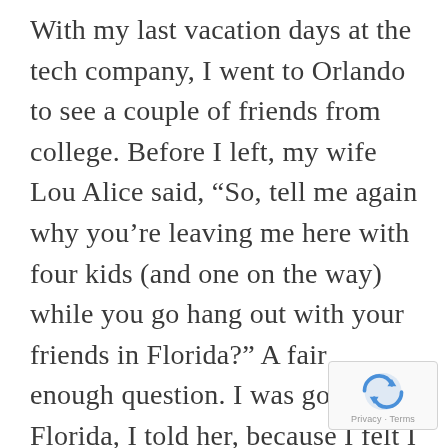With my last vacation days at the tech company, I went to Orlando to see a couple of friends from college. Before I left, my wife Lou Alice said, “So, tell me again why you’re leaving me here with four kids (and one on the way) while you go hang out with your friends in Florida?” A fair enough question. I was going to Florida, I told her, because I felt I had lost my way and needed to spend some time with people who still thought of me as the person I had been ten years earlier.